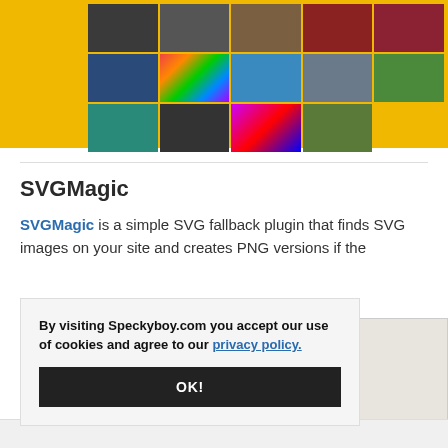[Figure (photo): Collage of multiple photos on yellow background: person in dark clothing, electronic device, animal/tiger, electrical coil, blue disc, rainbow-colored abstract, swimmer, bald eagle, runners, child in teal hat, dot pattern fabric, colorful abstract, nature/corn]
SVGMagic
SVGMagic is a simple SVG fallback plugin that finds SVG images on your site and creates PNG versions if the browser doesn't support them.
By visiting Speckyboy.com you accept our use of cookies and agree to our privacy policy.
OK!